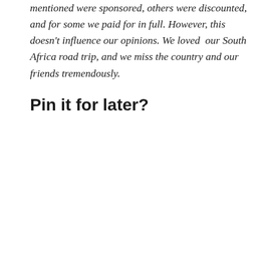mentioned were sponsored, others were discounted, and for some we paid for in full. However, this doesn't influence our opinions. We loved  our South Africa road trip, and we miss the country and our friends tremendously.
Pin it for later?